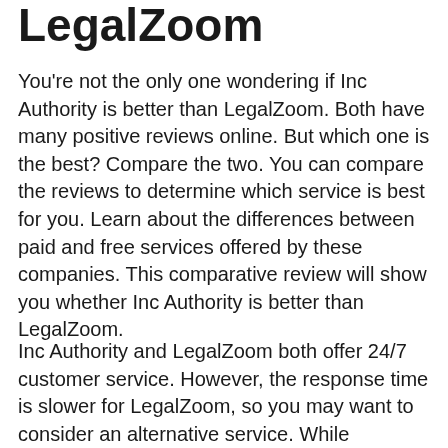LegalZoom
You're not the only one wondering if Inc Authority is better than LegalZoom. Both have many positive reviews online. But which one is the best? Compare the two. You can compare the reviews to determine which service is best for you. Learn about the differences between paid and free services offered by these companies. This comparative review will show you whether Inc Authority is better than LegalZoom.
Inc Authority and LegalZoom both offer 24/7 customer service. However, the response time is slower for LegalZoom, so you may want to consider an alternative service. While LegalZoom has a better response time,